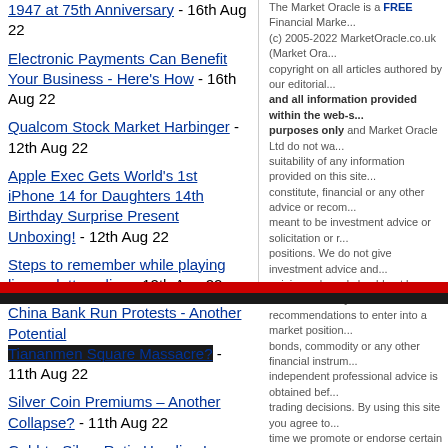1947 at 75th Anniversary - 16th Aug 22
Electronic Payments Can Benefit Your Business - Here's How - 16th Aug 22
Qualcom Stock Market Harbinger - 12th Aug 22
Apple Exec Gets World's 1st iPhone 14 for Daughters 14th Birthday Surprise Present Unboxing! - 12th Aug 22
Steps to remember while playing live roulette online - 12th Aug 22
China Bank Run Protests - Another Potential Tiananmen Square Massacre? - 11th Aug 22
Silver Coin Premiums – Another Collapse? - 11th Aug 22
Gold-to-Silver Ratio Heading Lower – Setup Like 1989-03 - 11th Aug 22
Severe Stocks Bear Market: Will You Be
The Market Oracle is a FREE Financial Market... (c) 2005-2022 MarketOracle.co.uk (Market Ora... copyright on all articles authored by our editorial... and all information provided within the web-s... purposes only and Market Oracle Ltd do not wa... suitability of any information provided on this site... constitute, financial or any other advice or recom... meant to be investment advice or solicitation or r... positions. We do not give investment advice and... opinion only and should not be construed in any... recommendations to enter into a market position... bonds, commodity or any other financial instrum... independent professional advice is obtained bef... trading decisions. By using this site you agree to... time we promote or endorse certain products / se... your time and attention. In return for that endorse... you purchase directly though us may we be com... products.
Terms of Use | Pri...